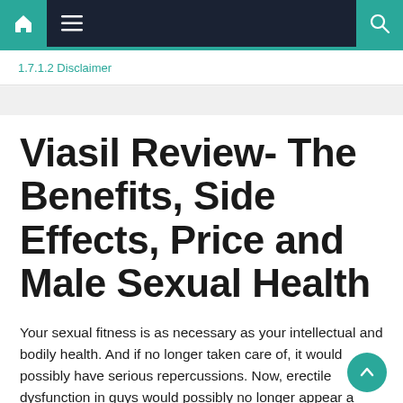Navigation bar with home, menu, and search icons
1.7.1.2 Disclaimer
Viasil Review- The Benefits, Side Effects, Price and Male Sexual Health
Your sexual fitness is as necessary as your intellectual and bodily health. And if no longer taken care of, it would possibly have serious repercussions. Now, erectile dysfunction in guys would possibly no longer appear a very serious health condition, however it does have some serious repercussions